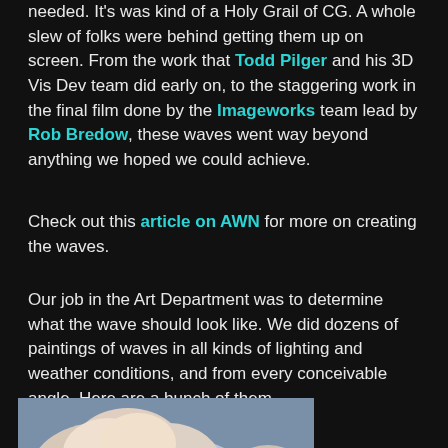needed. It's was kind of a Holy Grail of CG. A whole slew of folks were behind getting them up on screen. From the work that Todd Pilger and his 3D Vis Dev team did early on, to the staggering work in the final film done by the Imageworks team lead by Rob Bredow, these waves went way beyond anything we hoped we could achieve.
Check out this article on AWN for more on creating the waves.
Our job in the Art Department was to determine what the wave should look like. We did dozens of paintings of waves in all kinds of lighting and weather conditions, and from every conceivable angle. Here are a bunch of them.
[Figure (illustration): A painting of dramatic cumulus clouds with soft pink/peach highlights against a blue-grey sky]